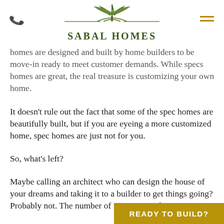[Figure (logo): Sabal Homes logo with palm tree graphic above the text SABAL HOMES in dark green, with phone and hamburger menu icons]
homes are designed and built by home builders to be move-in ready to meet customer demands. While specs homes are great, the real treasure is customizing your own home.
It doesn't rule out the fact that some of the spec homes are beautifully built, but if you are eyeing a more customized home, spec homes are just not for you.
So, what's left?
Maybe calling an architect who can design the house of your dreams and taking it to a builder to get things going? Probably not. The number of resources and time
READY TO BUILD?